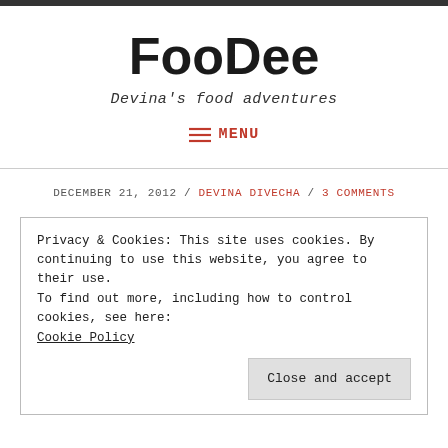FooDee
Devina's food adventures
≡ MENU
DECEMBER 21, 2012 / DEVINA DIVECHA / 3 COMMENTS
Privacy & Cookies: This site uses cookies. By continuing to use this website, you agree to their use.
To find out more, including how to control cookies, see here:
Cookie Policy

Close and accept